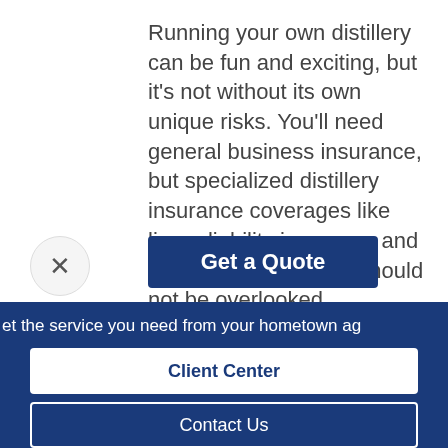Running your own distillery can be fun and exciting, but it's not without its own unique risks. You'll need general business insurance, but specialized distillery insurance coverages like liquor liability insurance and equipment insurance should not be overlooked.
Get a Quote
et the service you need from your hometown ag
Client Center
Contact Us